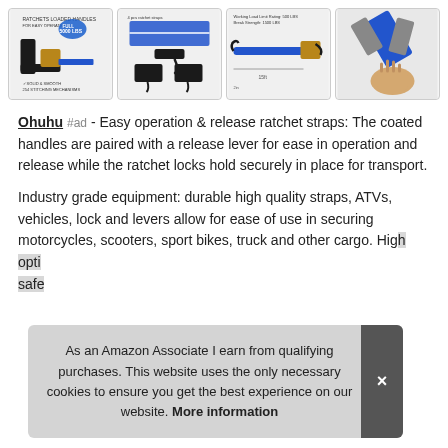[Figure (photo): Row of four product images showing blue ratchet straps with metal buckles and hooks on white background with border]
Ohuhu #ad - Easy operation & release ratchet straps: The coated handles are paired with a release lever for ease in operation and release while the ratchet locks hold securely in place for transport.
Industry grade equipment: durable high quality straps, ATVs, vehicles, lock and levers allow for ease of use in securing motorcycles, scooters, sport bikes, truck and other cargo. High... opti... safe...
As an Amazon Associate I earn from qualifying purchases. This website uses the only necessary cookies to ensure you get the best experience on our website. More information